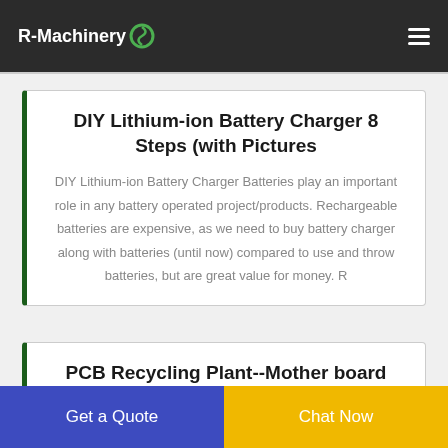R-Machinery
DIY Lithium-ion Battery Charger 8 Steps (with Pictures
DIY Lithium-ion Battery Charger Batteries play an important role in any battery operated project/products. Rechargeable batteries are expensive, as we need to buy battery charger along with batteries (until now) compared to use and throw batteries, but are great value for money. R
PCB Recycling Plant--Mother board Crushing and Separating
Get a Quote
Chat Now